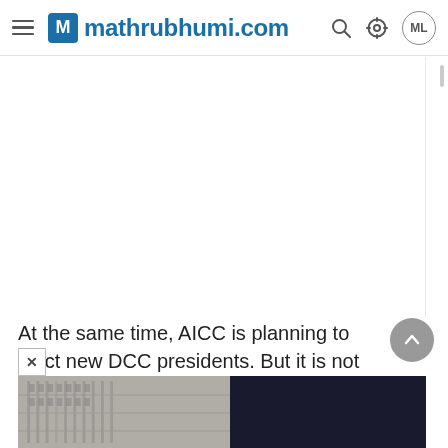mathrubhumi.com
At the same time, AICC is planning to elect new DCC presidents. But it is not easy to implement such a decision immediately.
[Figure (photo): Bottom portion of a news article page showing a building photograph on the left and a dark navy/black panel on the right, partially visible.]